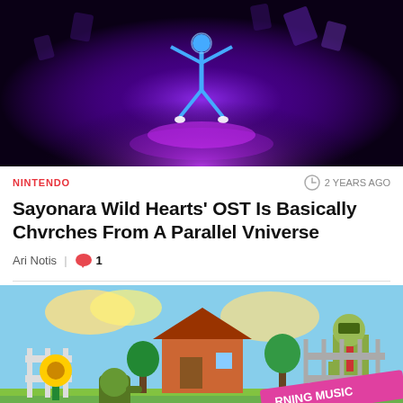[Figure (screenshot): Dark purple/black background showing a neon-lit dancing figure in a video game scene (Sayonara Wild Hearts)]
NINTENDO
2 YEARS AGO
Sayonara Wild Hearts’ OST Is Basically Chvrches From A Parallel Vniverse
Ari Notis | 💬 1
[Figure (screenshot): Plants vs Zombies colorful cartoon artwork showing sunflowers, plants, and a zombie with a house in background. Overlaid text reads 'RNING MUSIC']
[Figure (other): Kotaku advertisement banner with red background: Kotaku logo on left, CLICK HERE button on right with diagonal stripe pattern]